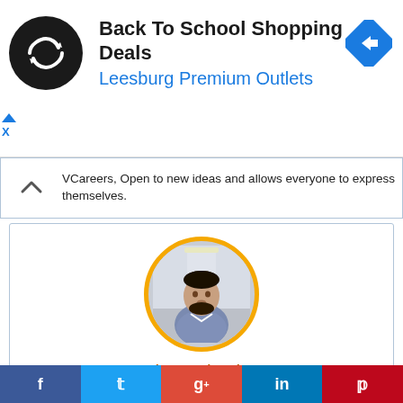[Figure (infographic): Advertisement banner for Back To School Shopping Deals at Leesburg Premium Outlets with a black circular logo with a loop arrow icon, and a blue diamond navigation icon on the right]
VCareers, Open to new ideas and allows everyone to express themselves.
[Figure (photo): Circular profile photo of Muhammad Nadeem with a yellow/gold border, man in gray shirt in an indoor setting]
Muhammad Nadeem
Front-End Developer
OWCareers is the right platform for the Job seekers to find right jobs at the
[Figure (infographic): Social media share buttons row: Facebook (blue), Twitter (light blue), Google+ (red), LinkedIn (blue), Pinterest (dark red)]